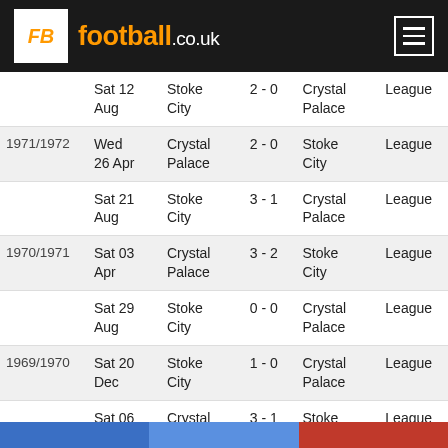FB football.co.uk
| Season | Date | Home | Score | Away | Type |
| --- | --- | --- | --- | --- | --- |
|  | Sat 12 Aug | Stoke City | 2 - 0 | Crystal Palace | League |
| 1971/1972 | Wed 26 Apr | Crystal Palace | 2 - 0 | Stoke City | League |
|  | Sat 21 Aug | Stoke City | 3 - 1 | Crystal Palace | League |
| 1970/1971 | Sat 03 Apr | Crystal Palace | 3 - 2 | Stoke City | League |
|  | Sat 29 Aug | Stoke City | 0 - 0 | Crystal Palace | League |
| 1969/1970 | Sat 20 Dec | Stoke City | 1 - 0 | Crystal Palace | League |
|  | Sat 06 Sep | Crystal Palace | 3 - 1 | Stoke City | League |